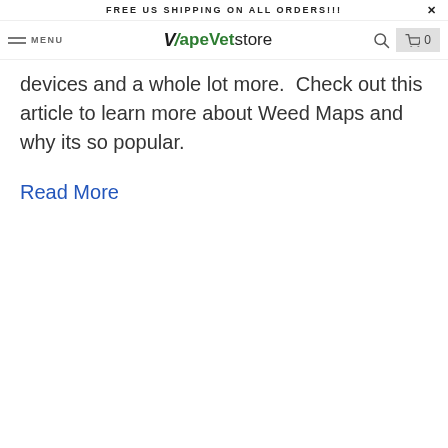FREE US SHIPPING ON ALL ORDERS!!!  X
MENU  VapeVetstore  🔍  🛒 0
devices and a whole lot more.  Check out this article to learn more about Weed Maps and why its so popular.
Read More